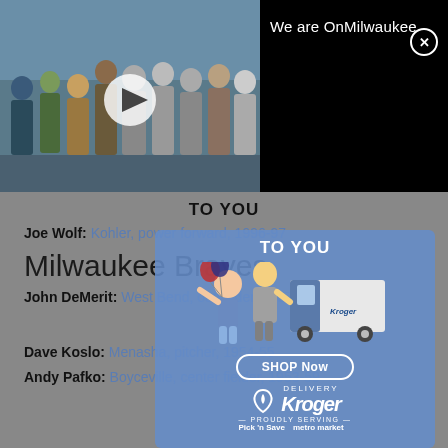[Figure (photo): Group photo of people standing together, with a video play button overlay]
We are OnMilwaukee
TO YOU
Joe Wolf: Kohler, power forward, 1996-97
Milwaukee Braves
John DeMerit: West Bend, outfielder, 1957-59 and 1961
[Figure (illustration): Kroger Delivery advertisement with cartoon characters, delivery truck, SHOP Now button, Kroger logo, Pick N Save and metro market logos]
Dave Koslo: Menasha, pitcher, 1954-55
Andy Pafko: Boyceville, center fielder, 1953-59